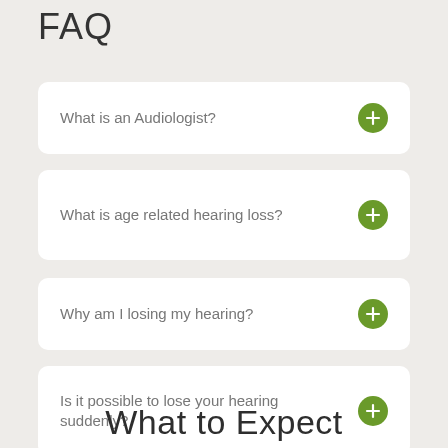FAQ
What is an Audiologist?
What is age related hearing loss?
Why am I losing my hearing?
Is it possible to lose your hearing suddenly?
What to Expect